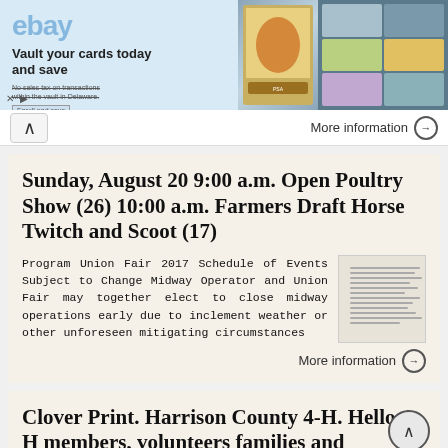[Figure (screenshot): eBay advertisement banner: 'Vault your cards today and save' with card images on the right side]
More information →
Sunday, August 20 9:00 a.m. Open Poultry Show (26) 10:00 a.m. Farmers Draft Horse Twitch and Scoot (17)
Program Union Fair 2017 Schedule of Events Subject to Change Midway Operator and Union Fair may together elect to close midway operations early due to inclement weather or other unforeseen mitigating circumstances
More information →
Clover Print. Harrison County 4-H. Hello 4-H members, volunteers families and